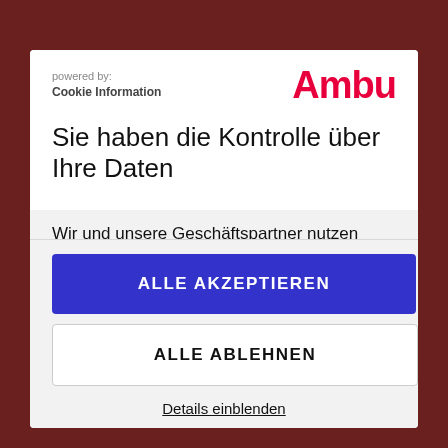[Figure (logo): Ambu logo in red with 'powered by: Cookie Information' text]
Sie haben die Kontrolle über Ihre Daten
Wir und unsere Geschäftspartner nutzen Technologien wie Cookies dazu, personenbezogene Informationen für verschiedene Zwecke zu sammeln
ALLE AKZEPTIEREN
ALLE ABLEHNEN
Details einblenden